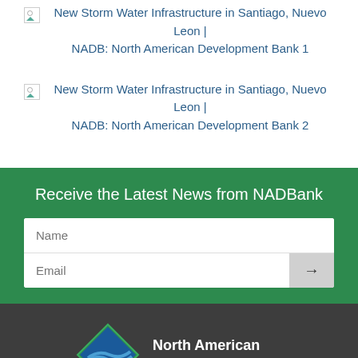New Storm Water Infrastructure in Santiago, Nuevo Leon | NADB: North American Development Bank 1
New Storm Water Infrastructure in Santiago, Nuevo Leon | NADB: North American Development Bank 2
Receive the Latest News from NADBank
[Figure (logo): North American Development Bank logo with diamond shape containing blue wave lines and green border, with white text reading North American Development Bank on dark background]